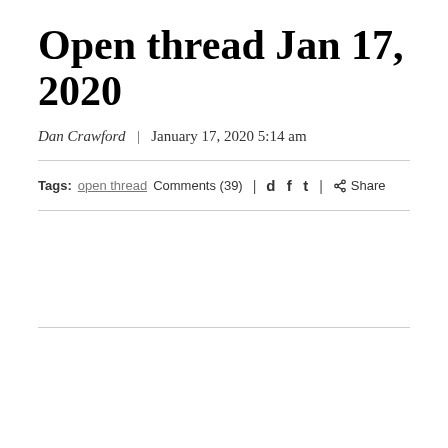Open thread Jan 17, 2020
Dan Crawford | January 17, 2020 5:14 am
Tags: open thread Comments (39) | d f t | Share